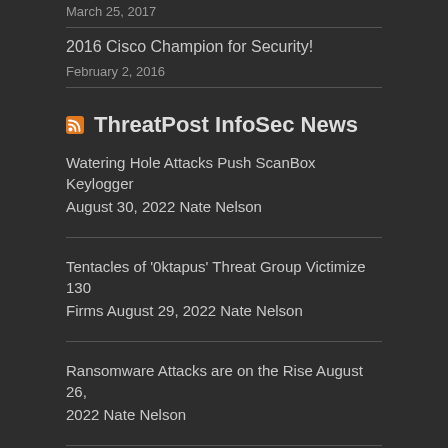March 25, 2017
2016 Cisco Champion for Security!
February 2, 2016
ThreatPost InfoSec News
Watering Hole Attacks Push ScanBox Keylogger
August 30, 2022 Nate Nelson
Tentacles of '0ktapus' Threat Group Victimize 130 Firms August 29, 2022 Nate Nelson
Ransomware Attacks are on the Rise August 26, 2022 Nate Nelson